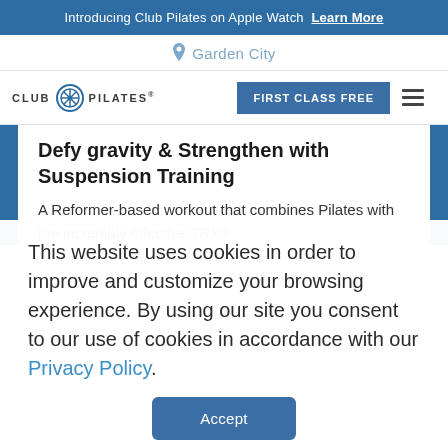Introducing Club Pilates on Apple Watch  Learn More
Garden City
[Figure (logo): Club Pilates logo with circular snowflake/star icon and text CLUB PILATES]
FIRST CLASS FREE
Defy gravity & Strengthen with Suspension Training
A Reformer-based workout that combines Pilates with the incredibly effective TRX®
This website uses cookies in order to improve and customize your browsing experience. By using our site you consent to our use of cookies in accordance with our Privacy Policy.
Accept